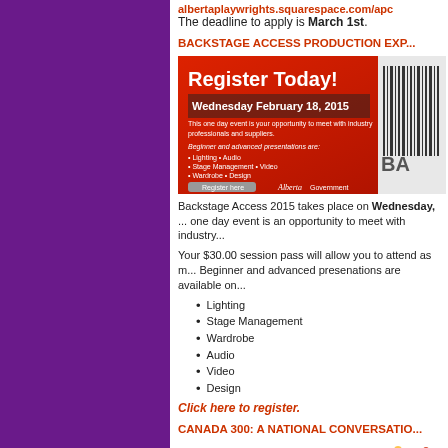albertaplaywrights.squarespace.com/apc
The deadline to apply is March 1st.
BACKSTAGE ACCESS PRODUCTION EXP...
[Figure (illustration): Backstage Access 2015 promotional banner with red background, Register Today text, Wednesday February 18 2015, list of presentations including Lighting, Stage Management, Wardrobe, Audio, Video, Design, Register here button, Alberta Government logo]
Backstage Access 2015 takes place on Wednesday, ... one day event is an opportunity to meet with industry...
Your $30.00 session pass will allow you to attend as m... Beginner and advanced presenations are available on...
Lighting
Stage Management
Wardrobe
Audio
Video
Design
Click here to register.
CANADA 300: A NATIONAL CONVERSATIO...